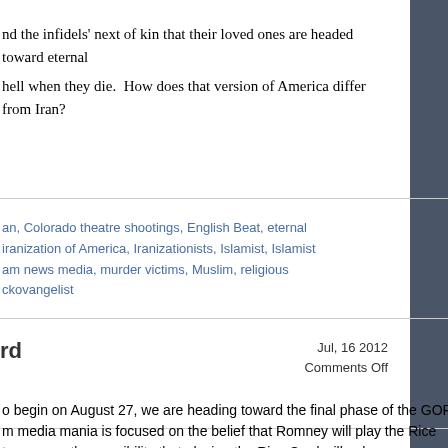nd the infidels' next of kin that their loved ones are headed toward eternal
hell when they die.  How does that version of America differ from Iran?
Read More
an, Colorado theatre shootings, English Beat, eternal iranization of America, Iranizationists, Islamist, Islamist am news media, murder victims, Muslim, religious ckovangelist
rd
Jul, 16 2012
Comments Off
o begin on August 27, we are heading toward the final phase of the GOP m media mania is focused on the belief that Romney will play the Rice t concerns the possibility that playing the Rice Card will enhance support